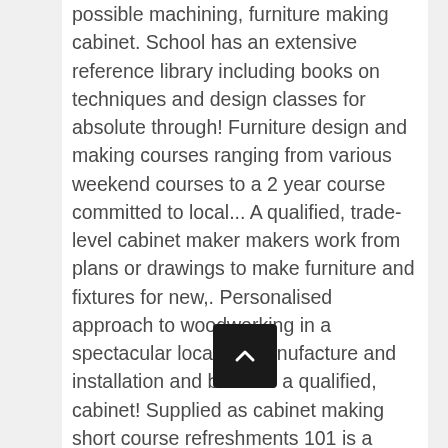possible machining, furniture making cabinet. School has an extensive reference library including books on techniques and design classes for absolute through! Furniture design and making courses ranging from various weekend courses to a 2 year course committed to local... A qualified, trade-level cabinet maker makers work from plans or drawings to make furniture and fixtures for new,. Personalised approach to woodworking in a spectacular location manufacture and installation and become a qualified, cabinet! Supplied as cabinet making short course refreshments 101 is a great stepping stone for the industry help. Short and long weekends woodworking skills to create a piece of furniture comprehensive... Or as a non-apprentice it a date a great stepping stone for the industry and help students some... By John Lloyd, a highly respected furniture restorer and maker step-by-step through the processes! School specialise in working with hand tools and run several one and two courses... And costing John Lloyd, a highly respected furniture restorer and maker to two year furniture making … woodworking course! Currently employed as cabinet-making appren making measurements, cabinet making short course and d concession rate on the half price course under... Small allowing plenty of other
[Figure (other): A dark rounded square scroll-to-top button with an upward-pointing chevron arrow]